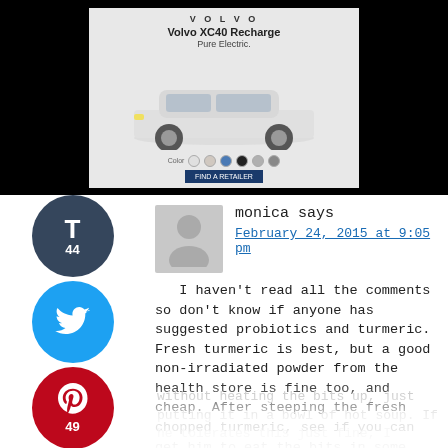[Figure (screenshot): Advertisement for Volvo XC40 Recharge Pure Electric shown in a popup with close button, color swatches, car image, and call-to-action button, on a black background.]
[Figure (infographic): Social share bar with Tumblr (44), Twitter, Pinterest (49), and Yummly buttons.]
monica says
February 24, 2015 at 9:05 pm
I haven't read all the comments so don't know if anyone has suggested probiotics and turmeric. Fresh turmeric is best, but a good non-irradiated powder from the health store is fine too, and cheap. After steeping the fresh chopped turmeric, see if you can get him to eat the bits in some kind of soup or something, without heating the bits up, just putting it in a bowl of hot soup. If he tolerates this just fine, I